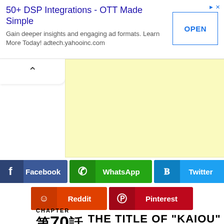50+ DSP Integrations - OTT Made Simple
Gain deeper insights and engaging ad formats. Learn More Today! adtech.yahooinc.com
[Figure (other): Yellow advertisement placeholder block]
Facebook
WhatsApp
Twitter
Reddit
Pinterest
CHAPTER 第70話 THE TITLE OF "KAIOU"